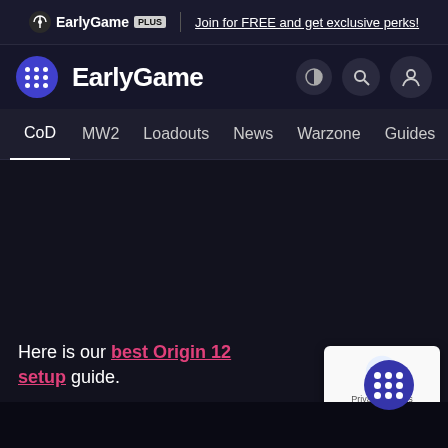EarlyGame PLUS | Join for FREE and get exclusive perks!
[Figure (screenshot): EarlyGame website navigation header with logo, site title, and icons]
CoD  MW2  Loadouts  News  Warzone  Guides  Videos
Here is our best Origin 12 setup guide.
[Figure (other): reCAPTCHA widget showing Privacy and Terms links]